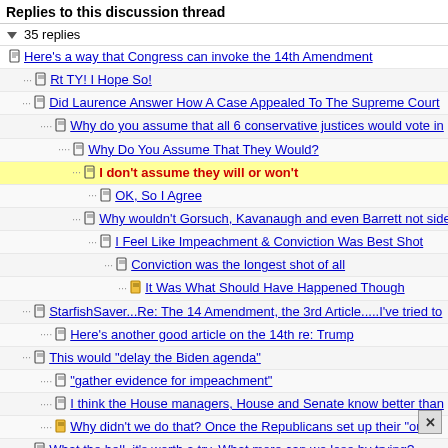Replies to this discussion thread
▽ 35 replies
Here's a way that Congress can invoke the 14th Amendment
Rt TY! I Hope So!
Did Laurence Answer How A Case Appealed To The Supreme Court
Why do you assume that all 6 conservative justices would vote in
Why Do You Assume That They Would?
I don't assume they will or won't
OK, So I Agree
Why wouldn't Gorsuch, Kavanaugh and even Barrett not side
I Feel Like Impeachment & Conviction Was Best Shot
Conviction was the longest shot of all
It Was What Should Have Happened Though
StarfishSaver...Re: The 14 Amendment, the 3rd Article.....I've tried to
Here's another good article on the 14th re: Trump
This would "delay the Biden agenda"
"gather evidence for impeachment"
I think the House managers, House and Senate know better than
Why didn't we do that? Once the Republicans set up their "out"
What the hell, it's worth a try. What more can we lose by trying?